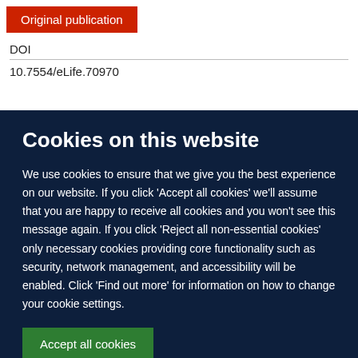Original publication
DOI
10.7554/eLife.70970
Cookies on this website
We use cookies to ensure that we give you the best experience on our website. If you click 'Accept all cookies' we'll assume that you are happy to receive all cookies and you won't see this message again. If you click 'Reject all non-essential cookies' only necessary cookies providing core functionality such as security, network management, and accessibility will be enabled. Click 'Find out more' for information on how to change your cookie settings.
Accept all cookies
Reject all non-essential cookies
Find out more